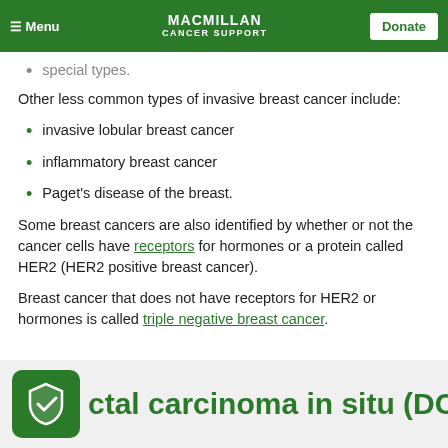Menu | MACMILLAN CANCER SUPPORT | Donate
special types.
Other less common types of invasive breast cancer include:
invasive lobular breast cancer
inflammatory breast cancer
Paget's disease of the breast.
Some breast cancers are also identified by whether or not the cancer cells have receptors for hormones or a protein called HER2 (HER2 positive breast cancer).
Breast cancer that does not have receptors for HER2 or hormones is called triple negative breast cancer.
ctal carcinoma in situ (DCIS)